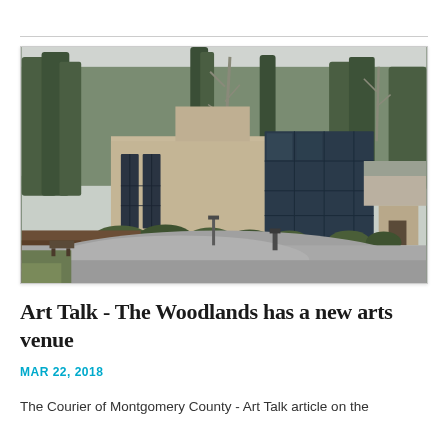[Figure (photo): Exterior photograph of a modern building surrounded by tall pine trees and bare winter trees, with large dark glass windows, a tan/gray facade, and a smaller adjacent structure with a triangular roof. A curved driveway is visible in the foreground with landscaping and mulched beds.]
Art Talk - The Woodlands has a new arts venue
MAR 22, 2018
The Courier of Montgomery County - Art Talk article on the